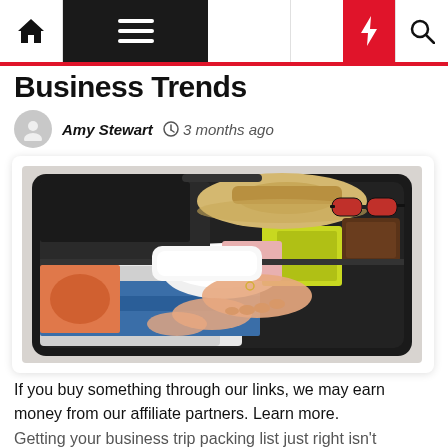Business Trends
Amy Stewart  ⊙ 3 months ago
[Figure (photo): Open suitcase being packed with colorful clothes, a hat, sunglasses, and a passport on a white bed]
If you buy something through our links, we may earn money from our affiliate partners. Learn more. Getting your business trip packing list just right isn't